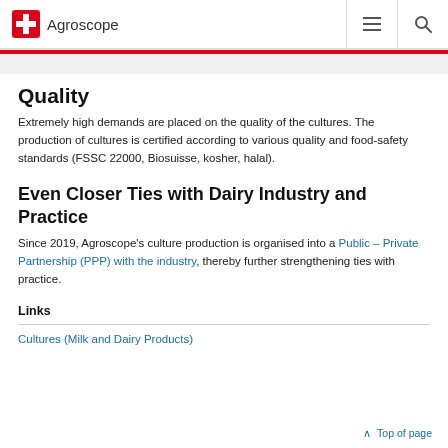Agroscope
Quality
Extremely high demands are placed on the quality of the cultures. The production of cultures is certified according to various quality and food-safety standards (FSSC 22000, Biosuisse, kosher, halal).
Even Closer Ties with Dairy Industry and Practice
Since 2019, Agroscope's culture production is organised into a Public – Private Partnership (PPP) with the industry, thereby further strengthening ties with practice.
Links
Cultures (Milk and Dairy Products)
Top of page